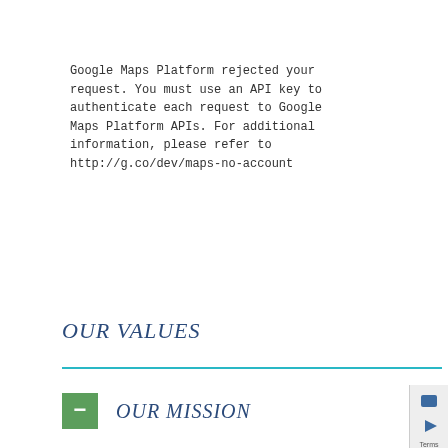Google Maps Platform rejected your request. You must use an API key to authenticate each request to Google Maps Platform APIs. For additional information, please refer to http://g.co/dev/maps-no-account
OUR VALUES
OUR MISSION